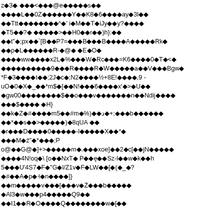Garbled/encoded text content with diamond replacement characters throughout — appears to be corrupted or encoded binary/font data rendered as text with diamond question mark symbols interspersed with ASCII characters.